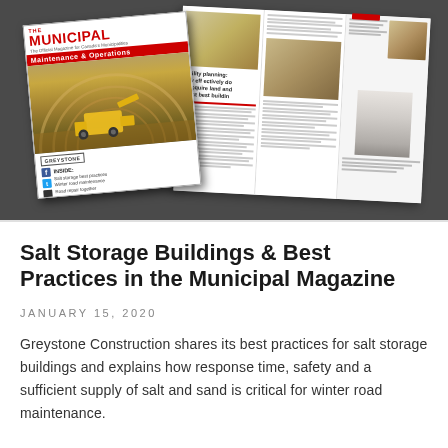[Figure (photo): Photo of The Municipal magazine cover and an open spread of the magazine, displayed on a dark gray background. The cover features a large yellow loader inside a salt storage dome structure. The open spread shows an article about facility planning with images of storage domes.]
Salt Storage Buildings & Best Practices in the Municipal Magazine
JANUARY 15, 2020
Greystone Construction shares its best practices for salt storage buildings and explains how response time, safety and a sufficient supply of salt and sand is critical for winter road maintenance.